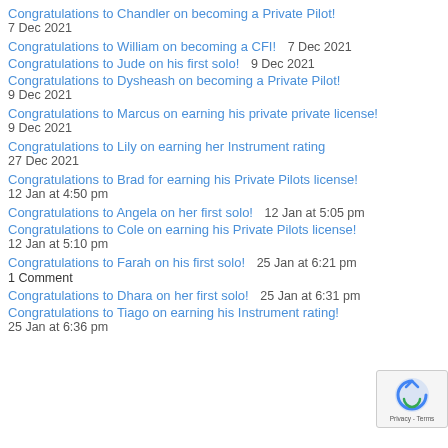Congratulations to Chandler on becoming a Private Pilot!
7 Dec 2021
Congratulations to William on becoming a CFI!    7 Dec 2021
Congratulations to Jude on his first solo!    9 Dec 2021
Congratulations to Dysheash on becoming a Private Pilot!
9 Dec 2021
Congratulations to Marcus on earning his private private license!
9 Dec 2021
Congratulations to Lily on earning her Instrument rating
27 Dec 2021
Congratulations to Brad for earning his Private Pilots license!
12 Jan at 4:50 pm
Congratulations to Angela on her first solo!    12 Jan at 5:05 pm
Congratulations to Cole on earning his Private Pilots license!
12 Jan at 5:10 pm
Congratulations to Farah on his first solo!    25 Jan at 6:21 pm
1 Comment
Congratulations to Dhara on her first solo!    25 Jan at 6:31 pm
Congratulations to Tiago on earning his Instrument rating!
25 Jan at 6:36 pm